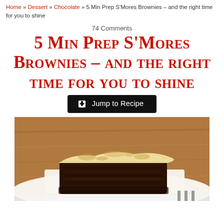Home » Dessert » Chocolate » 5 Min Prep S'Mores Brownies – and the right time for you to shine
74 Comments
5 Min Prep S'Mores Brownies – and the right time for you to shine
Jump to Recipe
[Figure (photo): A square s'mores brownie on white parchment paper, showing a thick layer of toasted marshmallow on top of a dark chocolate brownie base, with a warm wooden background.]